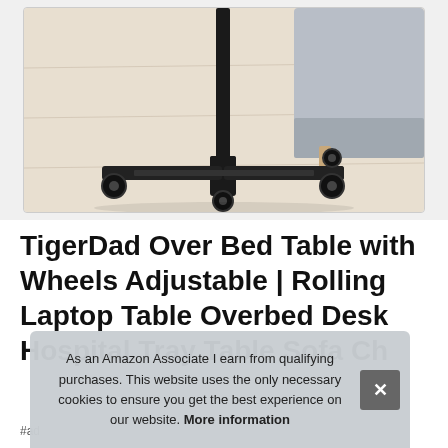[Figure (photo): Close-up photo of a black adjustable table base with four caster wheels on a light wood floor, with a grey sofa visible in the background.]
TigerDad Over Bed Table with Wheels Adjustable | Rolling Laptop Table Overbed Desk Hospital Tray Table Sofa Ch
#ad
As an Amazon Associate I earn from qualifying purchases. This website uses the only necessary cookies to ensure you get the best experience on our website. More information